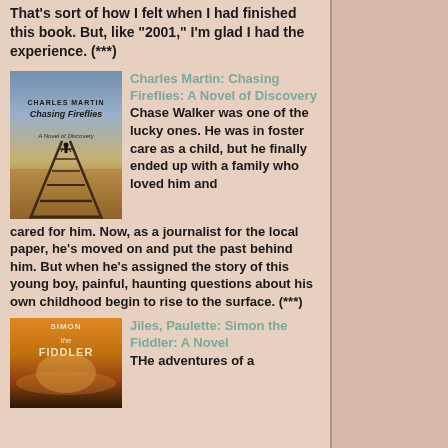That's sort of how I felt when I had finished this book. But, like "2001," I'm glad I had the experience. (***)
[Figure (illustration): Book cover of 'Chasing Fireflies: A Novel of Discovery' by Charles Martin, showing a boy standing on railroad tracks in a flat landscape under a dramatic cloudy sky.]
Charles Martin: Chasing Fireflies: A Novel of Discovery
Chase Walker was one of the lucky ones. He was in foster care as a child, but he finally ended up with a family who loved him and cared for him. Now, as a journalist for the local paper, he's moved on and put the past behind him. But when he's assigned the story of this young boy, painful, haunting questions about his own childhood begin to rise to the surface. (***)
[Figure (illustration): Book cover of 'Simon the Fiddler: A Novel' by Paulette Jiles, showing a warm orange/golden sunset landscape.]
Jiles, Paulette: Simon the Fiddler: A Novel
THe adventures of a